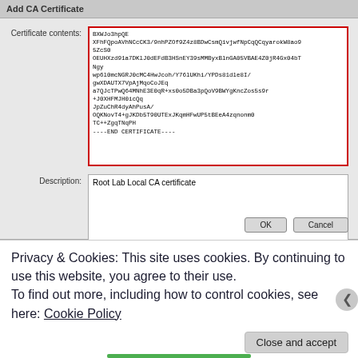[Figure (screenshot): Add CA Certificate dialog box showing Certificate contents field with base64-encoded certificate text in a red-bordered scrollable text area, and a Description field with 'Root Lab Local CA certificate', plus OK and Cancel buttons]
Privacy & Cookies: This site uses cookies. By continuing to use this website, you agree to their use.
To find out more, including how to control cookies, see here: Cookie Policy
Close and accept